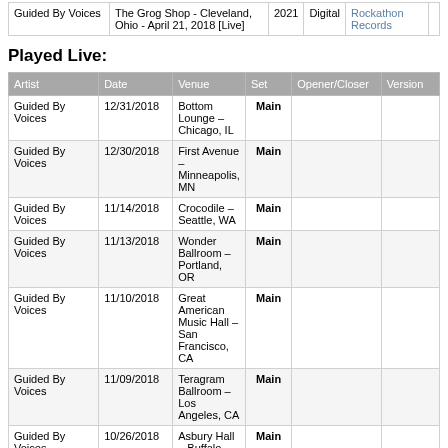| Artist | Album/Release | Year | Format | Label |
| --- | --- | --- | --- | --- |
| Guided By Voices | The Grog Shop - Cleveland, Ohio - April 21, 2018 [Live] | 2021 | Digital | Rockathon Records |
Played Live:
| Artist | Date | Venue | Set | Opener/Closer | Version |
| --- | --- | --- | --- | --- | --- |
| Guided By Voices | 12/31/2018 | Bottom Lounge - Chicago, IL | Main |  |  |
| Guided By Voices | 12/30/2018 | First Avenue - Minneapolis, MN | Main |  |  |
| Guided By Voices | 11/14/2018 | Crocodile - Seattle, WA | Main |  |  |
| Guided By Voices | 11/13/2018 | Wonder Ballroom - Portland, OR | Main |  |  |
| Guided By Voices | 11/10/2018 | Great American Music Hall - San Francisco, CA | Main |  |  |
| Guided By Voices | 11/09/2018 | Teragram Ballroom - Los Angeles, CA | Main |  |  |
| Guided By Voices | 10/26/2018 | Asbury Hall - Buffalo, NY | Main |  |  |
| Guided By Voices | 10/25/2018 | Lee's Palace - Toronto, ON | Main |  |  |
| Guided By Voices | 10/23/2018 | Gateway City Arts - Holyoke, MA | Main |  |  |
| Guided By Voices | 10/22/2018 | Sinclair - Cambridge, MA | Main |  |  |
| Guided By Voices | 10/20/2018 | Bowery Ballroom - New York, NY | Main |  |  |
| Guided By Voices | 10/19/2018 | Black Cat - Washington, DC | Main |  |  |